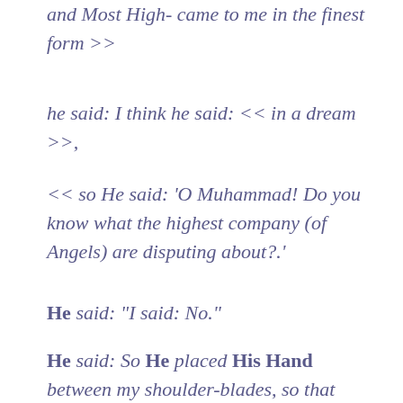and Most High- came to me in the finest form >>
he said: I think he said: << in a dream >>,
<< so He said: 'O Muhammad! Do you know what the highest company (of Angels) are disputing about?.'
He said: "I said: No."
He said: So He placed His Hand between my shoulder-blades, so that